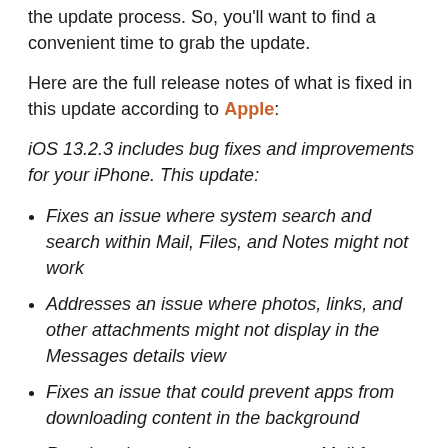the update process. So, you'll want to find a convenient time to grab the update.
Here are the full release notes of what is fixed in this update according to Apple:
iOS 13.2.3 includes bug fixes and improvements for your iPhone. This update:
Fixes an issue where system search and search within Mail, Files, and Notes might not work
Addresses an issue where photos, links, and other attachments might not display in the Messages details view
Fixes an issue that could prevent apps from downloading content in the background
Resolves issues that may prevent Mail from fetching new messages, and fail to include and quote original message content in Exchange